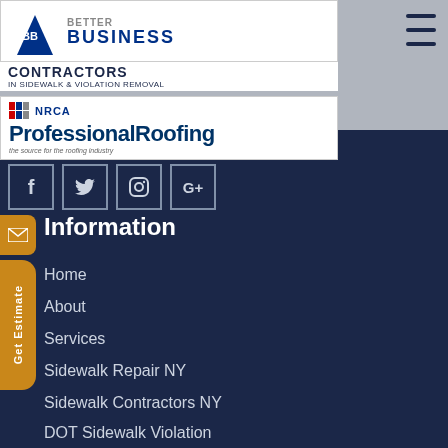[Figure (logo): BBB Better Business Bureau logo banner with blue triangle and text]
CONTRACTORS
IN SIDEWALK & VIOLATION REMOVAL
[Figure (logo): NRCA Professional Roofing - the source for the roofing industry]
[Figure (other): Social media icons: Facebook, Twitter, Instagram, Google+]
Information
Home
About
Services
Sidewalk Repair NY
Sidewalk Contractors NY
DOT Sidewalk Violation
Concrete Sidewalk Repair